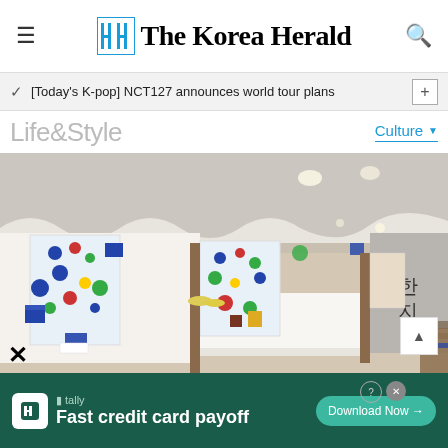The Korea Herald
[Today's K-pop] NCT127 announces world tour plans
Life&Style
Culture
[Figure (photo): Interior of an art exhibition space featuring colorful artwork panels on white walls, sculptural elements, a wavy white ceiling installation, wooden pillars, benches along the wall, and Korean characters 한지 on the right wall. Colorful 3D objects are displayed on a white platform in the foreground.]
[Figure (infographic): Advertisement for Tally app: 'Fast credit card payoff' with a Download Now button on a dark green background]